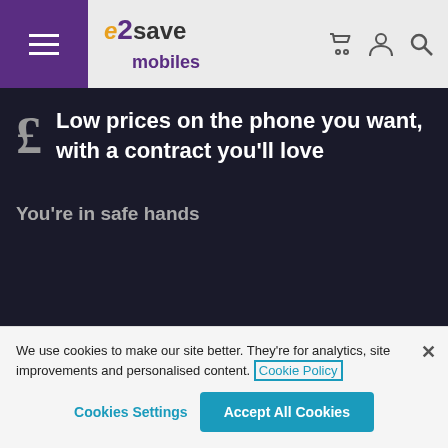e2save mobiles — navigation header with hamburger menu, basket, account, and search icons
Low prices on the phone you want, with a contract you'll love
You're in safe hands
e2save
Great Deals
We use cookies to make our site better. They're for analytics, site improvements and personalised content. Cookie Policy
Cookies Settings
Accept All Cookies